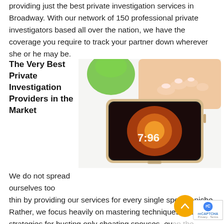providing just the best private investigation services in Broadway. With our network of 150 professional private investigators based all over the nation, we have the coverage you require to track your partner down wherever she or he may be.
The Very Best Private Investigation Providers in the Market
[Figure (photo): A hand with manicured nails touching a smartphone screen, with a green apple bowl in the background, on a white surface.]
We do not spread ourselves too thin by providing our services for every single specific niche. Rather, we focus heavily on mastering techniques and strategies for busting only cheating spouses, even the sneakiest of them. Our private detectives have actually been specifically trained in the most efficient private